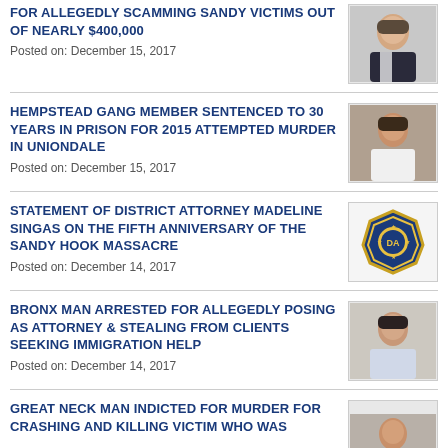FOR ALLEGEDLY SCAMMING SANDY VICTIMS OUT OF NEARLY $400,000
Posted on: December 15, 2017
HEMPSTEAD GANG MEMBER SENTENCED TO 30 YEARS IN PRISON FOR 2015 ATTEMPTED MURDER IN UNIONDALE
Posted on: December 15, 2017
STATEMENT OF DISTRICT ATTORNEY MADELINE SINGAS ON THE FIFTH ANNIVERSARY OF THE SANDY HOOK MASSACRE
Posted on: December 14, 2017
BRONX MAN ARRESTED FOR ALLEGEDLY POSING AS ATTORNEY & STEALING FROM CLIENTS SEEKING IMMIGRATION HELP
Posted on: December 14, 2017
GREAT NECK MAN INDICTED FOR MURDER FOR CRASHING AND KILLING VICTIM WHO WAS